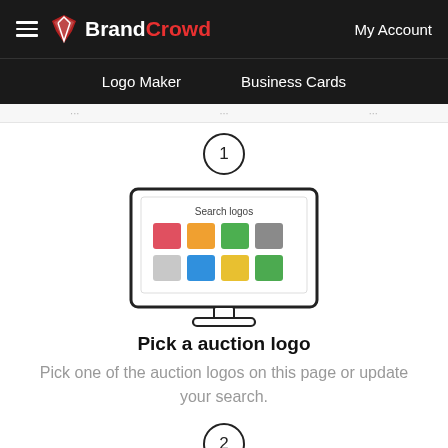BrandCrowd — My Account
Logo Maker | Business Cards
[Figure (illustration): A circle with the number 1 above an illustration of a desktop monitor showing a logo search interface with colored squares and the text 'Search logos']
Pick a auction logo
Pick one of the auction logos on this page or update your search.
[Figure (illustration): A circle with the number 2]